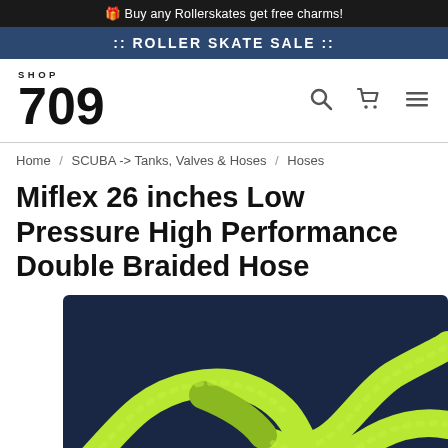🎁 Buy any Rollerskates get free charms!
:: ROLLER SKATE SALE ::
SHOP 709
Home / SCUBA -> Tanks, Valves & Hoses / Hoses
Miflex 26 inches Low Pressure High Performance Double Braided Hose
[Figure (photo): Photo of a bright yellow-green double braided hose tied in a knot against a dark navy blue background]